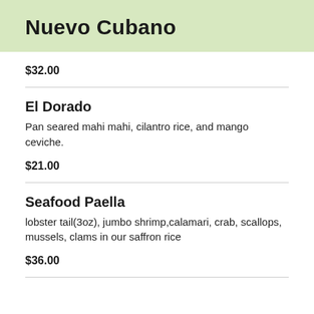Nuevo Cubano
$32.00
El Dorado
Pan seared mahi mahi, cilantro rice, and mango ceviche.
$21.00
Seafood Paella
lobster tail(3oz), jumbo shrimp,calamari, crab, scallops, mussels, clams in our saffron rice
$36.00